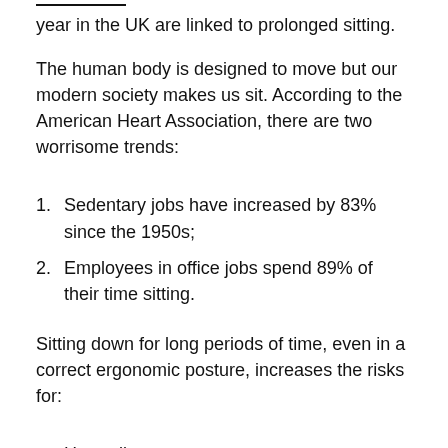year in the UK are linked to prolonged sitting.
The human body is designed to move but our modern society makes us sit. According to the American Heart Association, there are two worrisome trends:
Sedentary jobs have increased by 83% since the 1950s;
Employees in office jobs spend 89% of their time sitting.
Sitting down for long periods of time, even in a correct ergonomic posture, increases the risks for:
Heart disease
Cancer